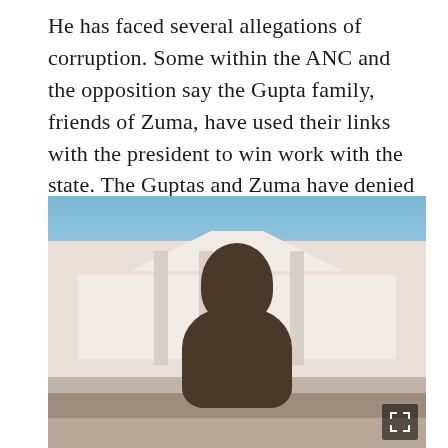He has faced several allegations of corruption. Some within the ANC and the opposition say the Gupta family, friends of Zuma, have used their links with the president to win work with the state. The Guptas and Zuma have denied any wrongdoing.
[Figure (photo): A bronze bust statue of Nelson Mandela in the foreground, with a large white neoclassical building (likely the South African Parliament) in the background. Crowds of people are visible around the statue base. The building features white columns, a triangular pediment, and red-brick accents.]